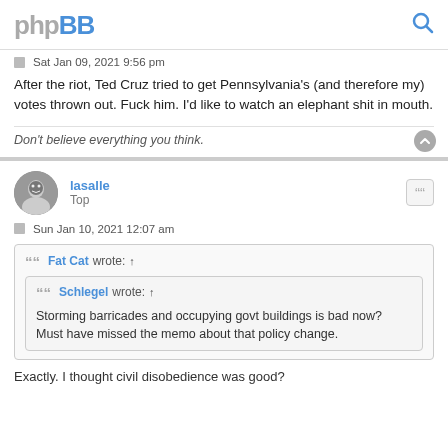phpBB
Sat Jan 09, 2021 9:56 pm
After the riot, Ted Cruz tried to get Pennsylvania's (and therefore my) votes thrown out. Fuck him. I'd like to watch an elephant shit in mouth.
Don't believe everything you think.
lasalle
Top
Sun Jan 10, 2021 12:07 am
Fat Cat wrote: ↑
Schlegel wrote: ↑
Storming barricades and occupying govt buildings is bad now? Must have missed the memo about that policy change.
Exactly. I thought civil disobedience was good?